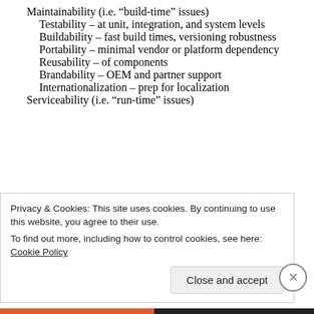Maintainability (i.e. “build-time” issues)
Testability – at unit, integration, and system levels
Buildability – fast build times, versioning robustness
Portability – minimal vendor or platform dependency
Reusability – of components
Brandability – OEM and partner support
Internationalization – prep for localization
Serviceability (i.e. “run-time” issues)
Privacy & Cookies: This site uses cookies. By continuing to use this website, you agree to their use.
To find out more, including how to control cookies, see here: Cookie Policy